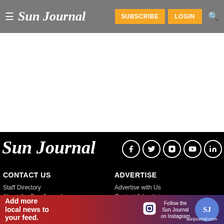☰ Sun Journal — SUBSCRIBE LOGIN 🔍
[Figure (screenshot): White empty content area below navigation bar]
Sun Journal
[Figure (infographic): Social media icons: Facebook, Twitter, Instagram, YouTube, LinkedIn — white circles on black background]
CONTACT US
Staff Directory
About the Sun Journal
ADVERTISE
Advertise with Us
Contact Advertising
[Figure (infographic): Ad banner: Add more local news to your feed. Follow the Sun Journal on Instagram. sunjournal.com badge]